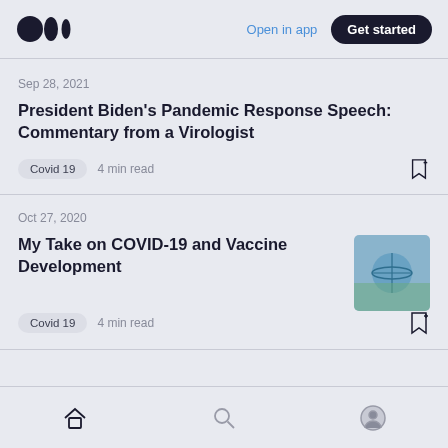Medium logo | Open in app | Get started
Sep 28, 2021
President Biden's Pandemic Response Speech: Commentary from a Virologist
Covid 19  4 min read
Oct 27, 2020
My Take on COVID-19 and Vaccine Development
Covid 19  4 min read
Home | Search | Profile